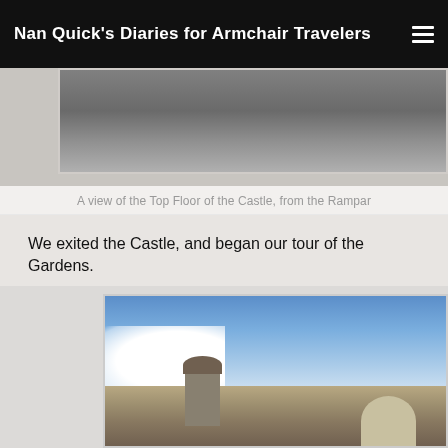Nan Quick's Diaries for Armchair Travelers
[Figure (photo): Partial view of the top floor of a castle seen from the ramparts, grey stone texture visible]
A view of the Top Floor of the Castle, from the Rampar
We exited the Castle, and began our tour of the Gardens.
[Figure (photo): View of castle gardens and surrounding rooftops against a blue sky with clouds, domed building and tower visible in the foreground]